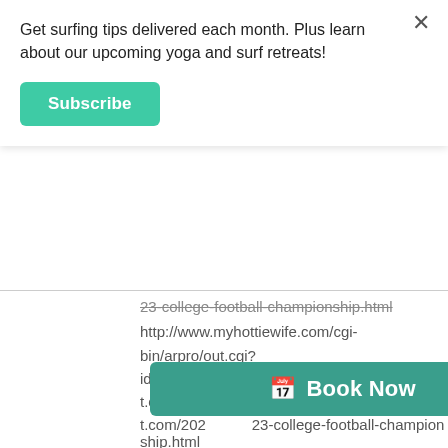Get surfing tips delivered each month. Plus learn about our upcoming yoga and surf retreats!
Subscribe
23-college-football-championship.html
http://www.myhottiewife.com/cgi-bin/arpro/out.cgi?id=Jojo&url=https://sportsbetting0000.blogspot.com/2023-college-football-championship.html
https://app.newsatme.com/emt/ses/814/33cfb749dad url=https://sportsbetting0000.blogspot.com/2022/08/23-college-football-championship.html
http://www.omatgp.com/cgi-bin/atc/out.cgi?...t.com/2022/23-college-football-championship.html